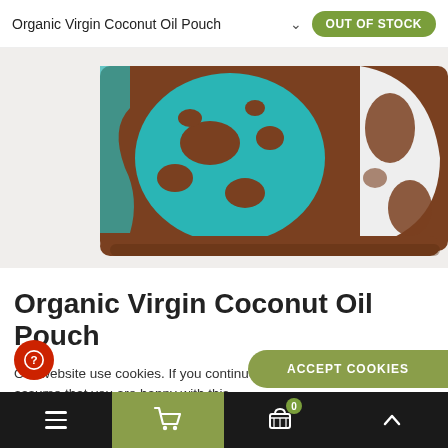Organic Virgin Coconut Oil Pouch
[Figure (photo): Close-up product photo of Organic Virgin Coconut Oil Pouch packaging, showing brown, teal/turquoise, and white color design with abstract pattern]
Organic Virgin Coconut Oil Pouch
Our website use cookies. If you continue to use this site we will assume that you are happy with this.
More about cookies: www.aboutcookies.org
Navigation bar with hamburger menu, cart icon, basket with badge 0, and up arrow